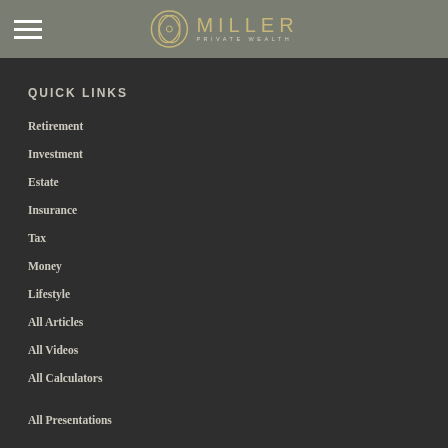[Figure (logo): Miller Private Wealth logo with circular emblem and text 'MILLER PRIVATE WEALTH']
QUICK LINKS
Retirement
Investment
Estate
Insurance
Tax
Money
Lifestyle
All Articles
All Videos
All Calculators
All Presentations